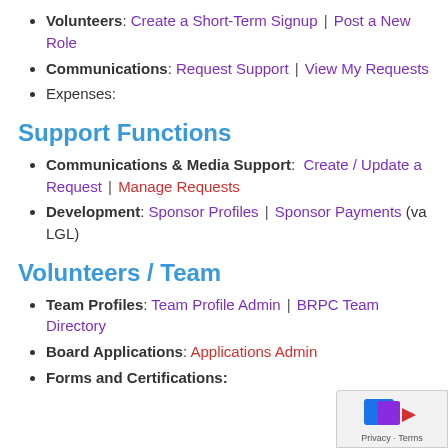Volunteers: Create a Short-Term Signup | Post a New Role
Communications: Request Support | View My Requests
Expenses:
Support Functions
Communications & Media Support: Create / Update a Request | Manage Requests
Development: Sponsor Profiles | Sponsor Payments (va LGL)
Volunteers / Team
Team Profiles: Team Profile Admin | BRPC Team Directory
Board Applications: Applications Admin
Forms and Certifications: